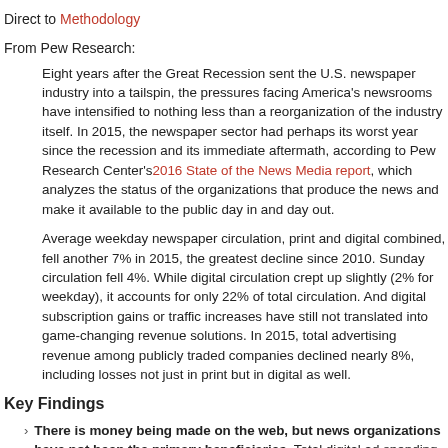Direct to Methodology
From Pew Research:
Eight years after the Great Recession sent the U.S. newspaper industry into a tailspin, the pressures facing America's newsrooms have intensified to nothing less than a reorganization of the industry itself. In 2015, the newspaper sector had perhaps its worst year since the recession and its immediate aftermath, according to Pew Research Center's 2016 State of the News Media report, which analyzes the status of the organizations that produce the news and make it available to the public day in and day out.
Average weekday newspaper circulation, print and digital combined, fell another 7% in 2015, the greatest decline since 2010. Sunday circulation fell 4%. While digital circulation crept up slightly (2% for weekday), it accounts for only 22% of total circulation. And digital subscription gains or traffic increases have still not translated into game-changing revenue solutions. In 2015, total advertising revenue among publicly traded companies declined nearly 8%, including losses not just in print but in digital as well.
Key Findings
There is money being made on the web, but news organizations have not been the primary beneficiaries. Total digital ad spending grew another 20% in 2015, to about $60 billion, a higher growth rate than in 2013 and 2014. But compared to about of the digital ad revenue more than 65% goes to just a few...